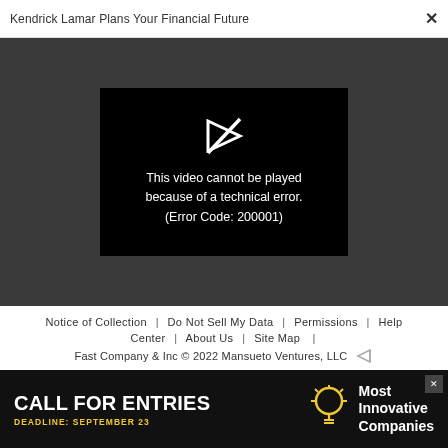Kendrick Lamar Plans Your Financial Future  ×
[Figure (screenshot): Video player showing error message: 'This video cannot be played because of a technical error. (Error Code: 200001)' on black background, inside a dark gray modal area.]
Notice of Collection | Do Not Sell My Data | Permissions | Help Center | About Us | Site Map | Fast Company & Inc © 2022 Mansueto Ventures, LLC
[Figure (infographic): Advertisement banner: 'CALL FOR ENTRIES DEADLINE: SEPTEMBER 23' with lightbulb icon and 'Most Innovative Companies' text on black background.]